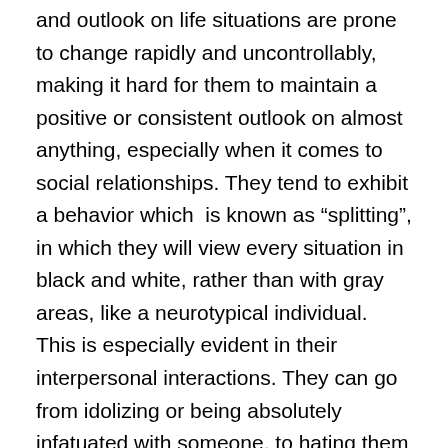and outlook on life situations are prone to change rapidly and uncontrollably, making it hard for them to maintain a positive or consistent outlook on almost anything, especially when it comes to social relationships. They tend to exhibit a behavior which is known as “splitting”, in which they will view every situation in black and white, rather than with gray areas, like a neurotypical individual. This is especially evident in their interpersonal interactions. They can go from idolizing or being absolutely infatuated with someone, to hating them in a split second. While this is out of their control, it is especially painful for those close to them. They also tend to have difficulty managing these thoughts, which tends to make them feel out of control or to self label themselves as “crazy” or “insane”. This can make it hard for sufferers to feel like they even know themselves, and have a hard time establishing their own identity, which is rapidly shifting and